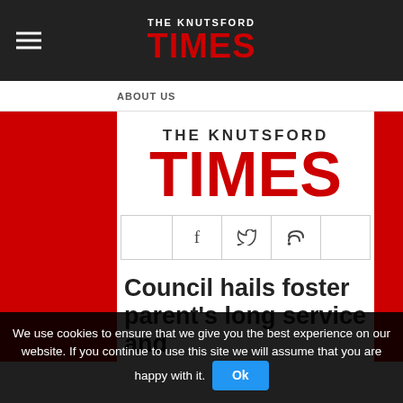THE KNUTSFORD TIMES
ABOUT US
THE KNUTSFORD TIMES
[Figure (other): Social media icons bar: Facebook (f), Twitter (bird), RSS feed icons]
Council hails foster parent’s long service and
We use cookies to ensure that we give you the best experience on our website. If you continue to use this site we will assume that you are happy with it.